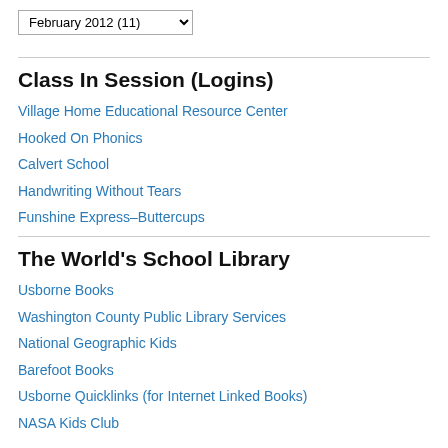February 2012 (11)
Class In Session (Logins)
Village Home Educational Resource Center
Hooked On Phonics
Calvert School
Handwriting Without Tears
Funshine Express–Buttercups
The World's School Library
Usborne Books
Washington County Public Library Services
National Geographic Kids
Barefoot Books
Usborne Quicklinks (for Internet Linked Books)
NASA Kids Club